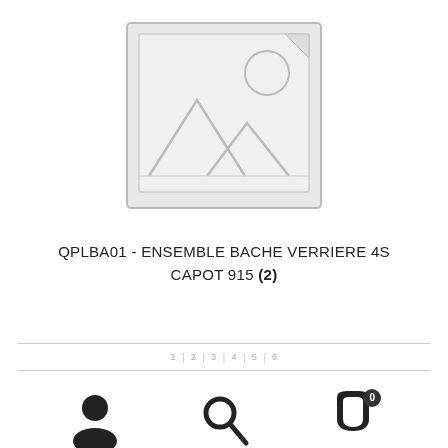[Figure (illustration): Placeholder image icon showing a landscape image placeholder with mountains and sun, light gray background with darker gray border and drawing lines]
QPLBA01 - ENSEMBLE BACHE VERRIERE 4S CAPOT 915 (2)
pagination bar with page numbers: 1 | 2 | 3 | 4 | 5 | 6
[Figure (infographic): Bottom navigation bar with user account icon, search icon, and shopping cart icon with badge showing 0]